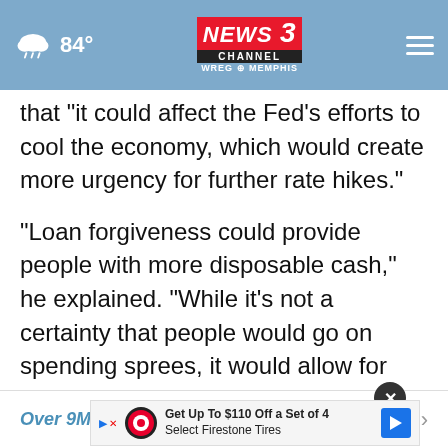84° NEWS CHANNEL 3 WREG MEMPHIS
that "it could affect the Fed's efforts to cool the economy, which would create more urgency for further rate hikes."
“Loan forgiveness could provide people with more disposable cash,” he explained. “While it’s not a certainty that people would go on spending sprees, it would allow for more shopping. That, in turn, would strengthen the economy, making it even more difficult to bring down sky-high consumer prices.”
Over 9M qualify for student loan forgiveness | Are...
Get Up To $110 Off a Set of 4 Select Firestone Tires